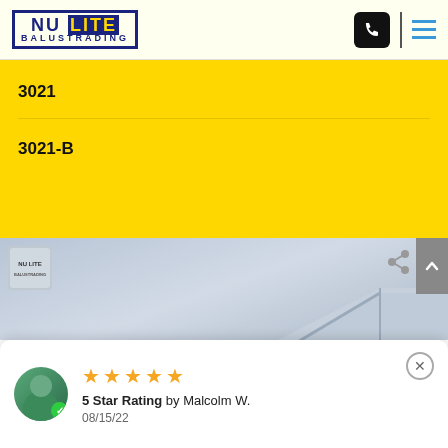Nu Lite Balustrading
3021
3021-B
[Figure (photo): Photo of Nu Lite balustrading product in light blue/grey tones, showing corner angle of balustrade panels. Nu Lite logo watermark top left. Share icon top right. 'Get A Quote' button with envelope icon at bottom left.]
5 Star Rating by Malcolm W.
08/15/22